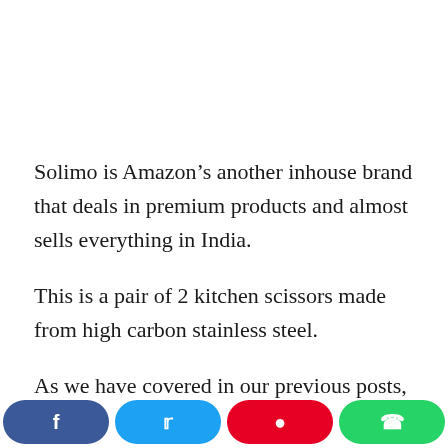Solimo is Amazon’s another inhouse brand that deals in premium products and almost sells everything in India.
This is a pair of 2 kitchen scissors made from high carbon stainless steel.
As we have covered in our previous posts, high
[Figure (other): Social sharing bar with four buttons: Facebook (blue), Twitter (light blue), Pinterest (red), WhatsApp (green)]